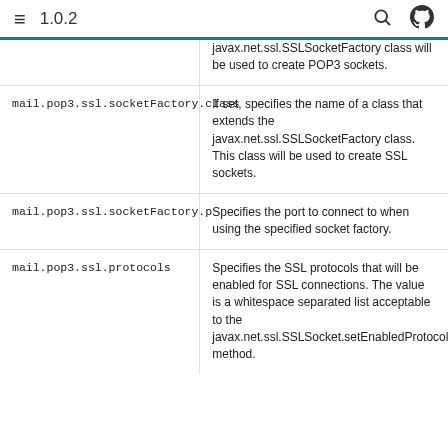≡  1.0.2
| Property | Description |
| --- | --- |
|  | javax.net.ssl.SSLSocketFactory class will be used to create POP3 sockets. |
| mail.pop3.ssl.socketFactory.class | If set, specifies the name of a class that extends the javax.net.ssl.SSLSocketFactory class. This class will be used to create SSL sockets. |
| mail.pop3.ssl.socketFactory.p | Specifies the port to connect to when using the specified socket factory. |
| mail.pop3.ssl.protocols | Specifies the SSL protocols that will be enabled for SSL connections. The value is a whitespace separated list acceptable to the javax.net.ssl.SSLSocket.setEnabledProtocols method. |